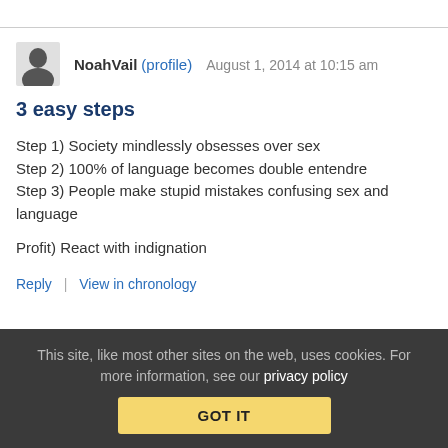NoahVail (profile)  August 1, 2014 at 10:15 am
3 easy steps
Step 1) Society mindlessly obsesses over sex
Step 2) 100% of language becomes double entendre
Step 3) People make stupid mistakes confusing sex and language
Profit) React with indignation
Reply | View in chronology
This site, like most other sites on the web, uses cookies. For more information, see our privacy policy  GOT IT